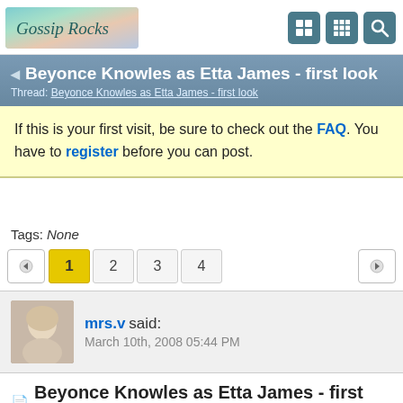[Figure (logo): Gossip Rocks logo with colorful floral background and cursive text]
Beyonce Knowles as Etta James - first look
Thread: Beyonce Knowles as Etta James - first look
If this is your first visit, be sure to check out the FAQ. You have to register before you can post.
Tags: None
1 2 3 4
mrs.v said: March 10th, 2008 05:44 PM
Beyonce Knowles as Etta James - first look
Beyonce is Etta James — FIRST LOOK